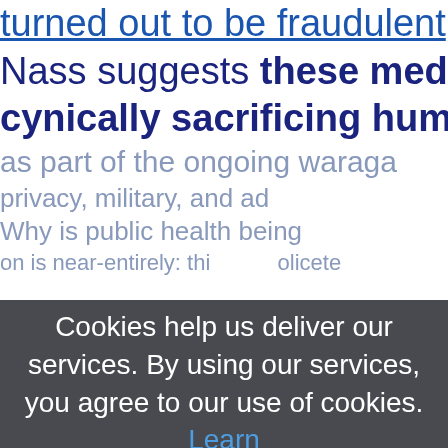turned out to be fraudulent, and Nass suggests these medical tr cynically sacrificing human su as part of the ongoing waraga privacy, military, and ad Why is public health being on is near-entirely: thi olicete
Cookies help us deliver our services. By using our services, you agree to our use of cookies. Learn more OK